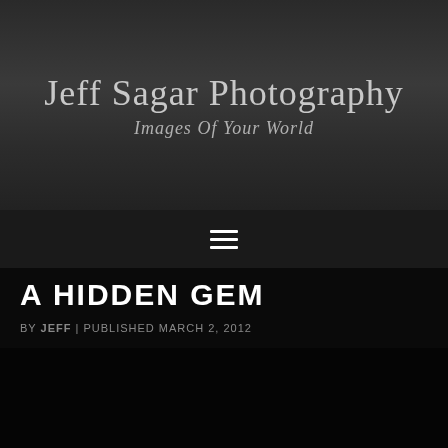Jeff Sagar Photography
Images Of Your World
[Figure (other): Hamburger menu icon (three horizontal lines)]
A HIDDEN GEM
BY JEFF | PUBLISHED MARCH 2, 2012